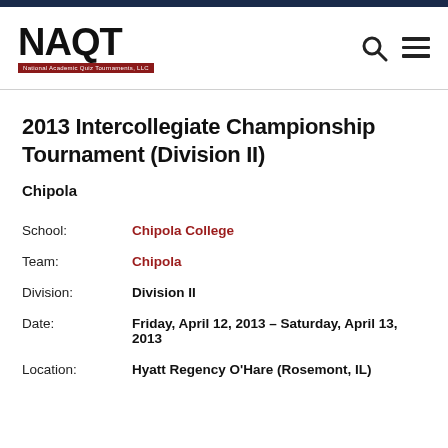NAQT — National Academic Quiz Tournaments, LLC
2013 Intercollegiate Championship Tournament (Division II)
Chipola
| Field | Value |
| --- | --- |
| School: | Chipola College |
| Team: | Chipola |
| Division: | Division II |
| Date: | Friday, April 12, 2013 – Saturday, April 13, 2013 |
| Location: | Hyatt Regency O'Hare (Rosemont, IL) |